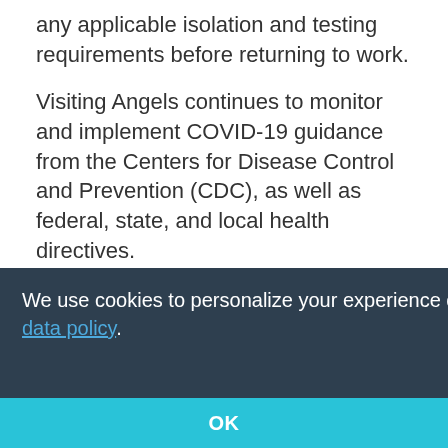any applicable isolation and testing requirements before returning to work.
Visiting Angels continues to monitor and implement COVID-19 guidance from the Centers for Disease Control and Prevention (CDC), as well as federal, state, and local health directives.
[Figure (screenshot): Cookie consent banner overlay with dark background reading 'We use cookies to personalize your experience on our site. To find out more, please read our data policy.' with a cyan OK button bar at the bottom.]
Wash and sanitize our hands regularly and make hand sanitizer readily available for your use.